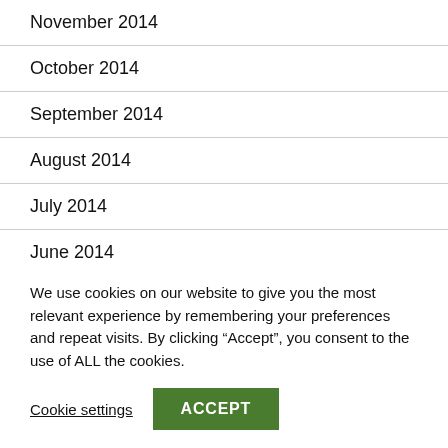November 2014
October 2014
September 2014
August 2014
July 2014
June 2014
May 2014
We use cookies on our website to give you the most relevant experience by remembering your preferences and repeat visits. By clicking “Accept”, you consent to the use of ALL the cookies.
Cookie settings  ACCEPT